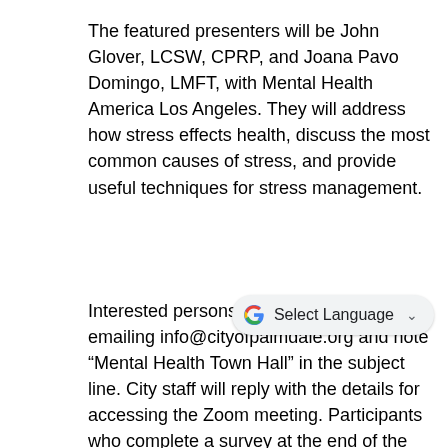The featured presenters will be John Glover, LCSW, CPRP, and Joana Pavo Domingo, LMFT, with Mental Health America Los Angeles. They will address how stress effects health, discuss the most common causes of stress, and provide useful techniques for stress management.
[Figure (other): Google Translate widget showing 'G Select Language' with a dropdown chevron]
Interested persons need to register by emailing info@cityofpalmdale.org and note "Mental Health Town Hall" in the subject line. City staff will reply with the details for accessing the Zoom meeting. Participants who complete a survey at the end of the presentation will have an opportunity to win a gift card to a local business.
“Since 1992, April has been recognized as Stress Awareness Month,” said Palmdale’s City Manager J.J. Murphy. “I think it goes without saying that we all have endured one of the most stressful years in our lives due to the COVID-19 pandemic. Learning techniques to cope with our stress and finding healthy ways to deal with these situations can go a long way in living a healthy and positive life. I encourage anyone who has been feeling stressed out to join us for this informative presentation.”